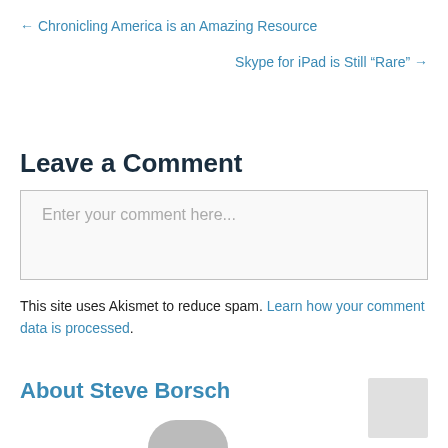← Chronicling America is an Amazing Resource
Skype for iPad is Still “Rare” →
Leave a Comment
Enter your comment here...
This site uses Akismet to reduce spam. Learn how your comment data is processed.
About Steve Borsch
[Figure (photo): Partial avatar/profile photo at bottom of page]